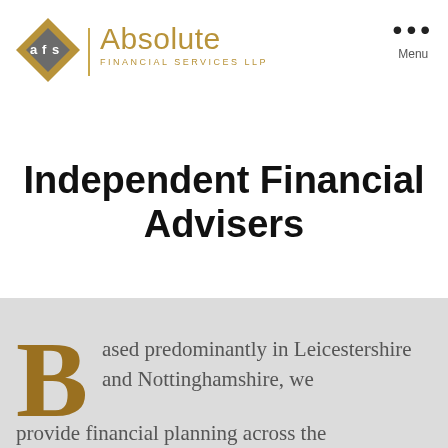[Figure (logo): Absolute Financial Services LLP logo with diamond-shaped emblem containing 'afs' and gold text reading 'Absolute FINANCIAL SERVICES LLP']
Independent Financial Advisers
Based predominantly in Leicestershire and Nottinghamshire, we provide financial planning across the